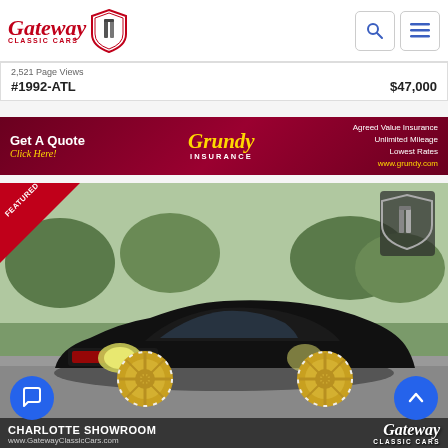[Figure (logo): Gateway Classic Cars logo with red script text and shield emblem]
2,521 Page Views
#1992-ATL   $47,000
[Figure (photo): Grundy Insurance advertisement banner with dark red background, gold script logo, quote call-to-action, and taglines: Agreed Value Insurance, Unlimited Mileage, Lowest Rates, www.grundy.com]
[Figure (photo): Black classic Pontiac Trans Am muscle car with gold wheels, FEATURED badge in top-left corner, Gateway Classic Cars logo overlay, CHARLOTTE SHOWROOM label and www.GatewayClassicCars.com URL at bottom]